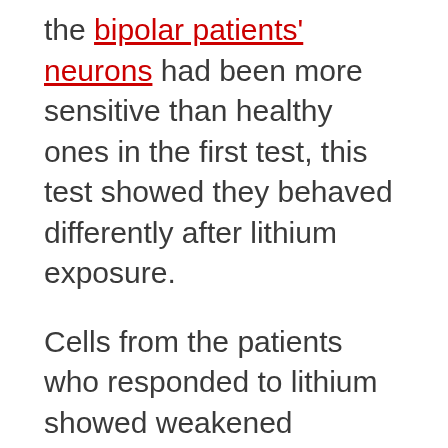the bipolar patients' neurons had been more sensitive than healthy ones in the first test, this test showed they behaved differently after lithium exposure.
Cells from the patients who responded to lithium showed weakened excitability after growing in the lithium bath, while cells from patients who hadn't been helped by the drug remained hyperexcitable.